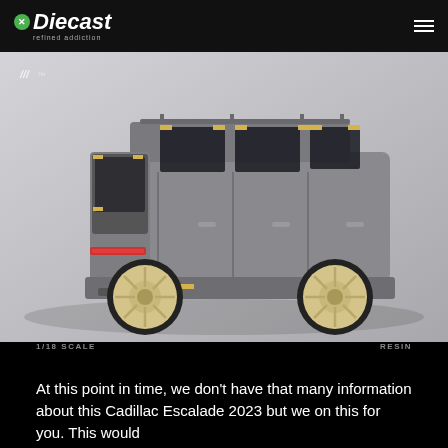Diecast refined addiction
[Figure (photo): Rear three-quarter view of a gray 1/18 scale resin diecast model of a Cadillac Escalade 2023, unfinished prototype with yellow masking tape details and cream/gold colored wheels, on a light gray background. Small brand logo watermark visible in upper left of photo.]
1/18 SCALE    RESIN
At this point in time, we don't have that many information about this Cadillac Escalade 2023 but we on this for you. This would